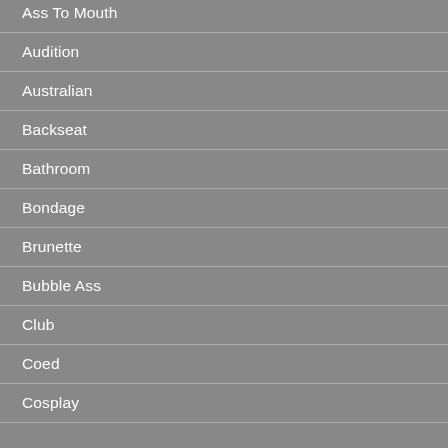Ass To Mouth
Audition
Australian
Backseat
Bathroom
Bondage
Brunette
Bubble Ass
Club
Coed
Cosplay